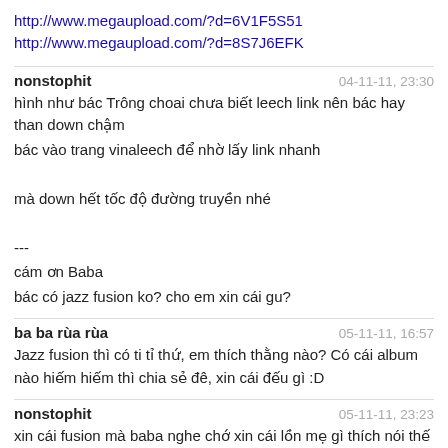http://www.megaupload.com/?d=6V1F5S51
http://www.megaupload.com/?d=8S7J6EFK
nonstophit	04-11-11, 23:30
hình như bác Trông choai chưa biết leech link nên bác hay than down chậm
bác vào trang vinaleech để nhờ lấy link nhanh

mà down hết tốc độ đường truyền nhé

---
cám ơn Baba
bác có jazz fusion ko? cho em xin cái gu?
ba ba rùa rùa	05-11-11, 16:57
Jazz fusion thì có ti tỉ thứ, em thích thằng nào? Có cái album nào hiếm hiếm thì chia sẻ đê, xin cái đếu gì :D
nonstophit	05-11-11, 23:23
xin cái fusion mà baba nghe chớ xin cái lồn mẹ gì thích nói thế hả?
nonstophit	05-11-11, 23:24
Michel Colombier, 1979